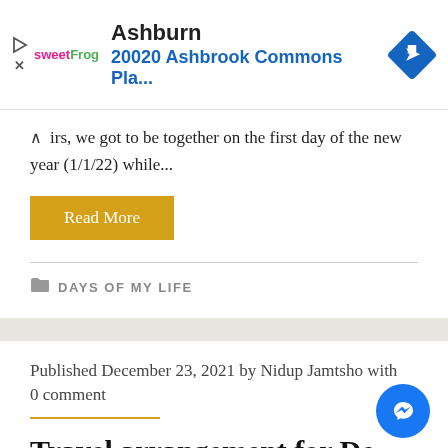[Figure (infographic): Advertisement banner for sweetFrog showing 'Ashburn' heading and '20020 Ashbrook Commons Pla...' address with navigation arrow diamond icon]
irs, we got to be together on the first day of the new year (1/1/22) while...
Read More
DAYS OF MY LIFE
Published December 23, 2021 by Nidup Jamtsho with 0 comment
Travel arrangement for De-Sung registrants: Samtso